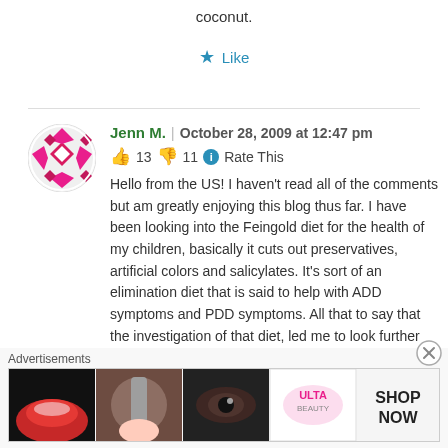coconut.
★ Like
Jenn M. | October 28, 2009 at 12:47 pm
👍 13 👎 11 ℹ Rate This
Hello from the US! I haven't read all of the comments but am greatly enjoying this blog thus far. I have been looking into the Feingold diet for the health of my children, basically it cuts out preservatives, artificial colors and salicylates. It's sort of an elimination diet that is said to help with ADD symptoms and PDD symptoms. All that to say that the investigation of that diet, led me to look further into the diet of the
Advertisements
[Figure (other): Ulta beauty advertisement banner showing makeup-related images including lips, brushes, eyes, and the Ulta logo with SHOP NOW button]